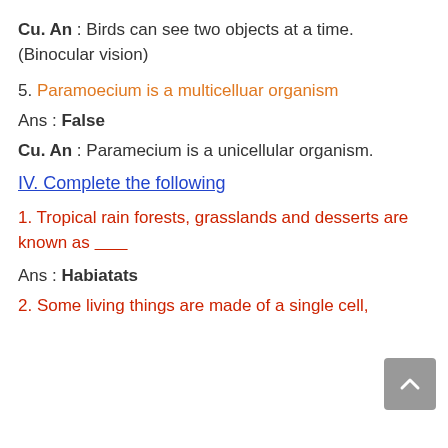Cu. An : Birds can see two objects at a time. (Binocular vision)
5. Paramoecium is a multicelluar organism
Ans : False
Cu. An : Paramecium is a unicellular organism.
IV. Complete the following
1. Tropical rain forests, grasslands and desserts are known as ______
Ans : Habiatats
2. Some living things are made of a single cell,